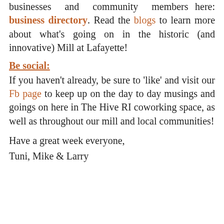businesses and community members here: business directory. Read the blogs to learn more about what's going on in the historic (and innovative) Mill at Lafayette!
Be social:
If you haven't already, be sure to 'like' and visit our Fb page to keep up on the day to day musings and goings on here in The Hive RI coworking space, as well as throughout our mill and local communities!
Have a great week everyone,
Tuni, Mike & Larry